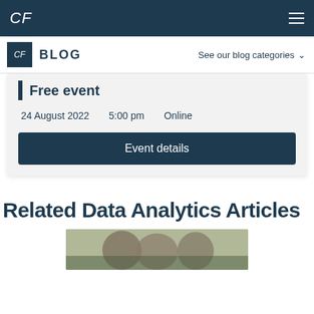CF
BLOG   See our blog categories
Free event
24 August 2022   5:00 pm   Online
Event details
Related Data Analytics Articles
[Figure (photo): Photo of people partially visible at the bottom of the page]